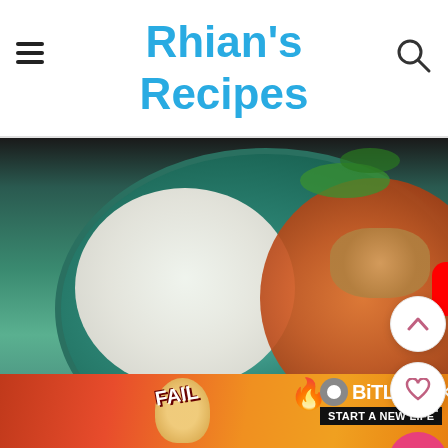Rhian's Recipes
[Figure (screenshot): YouTube video thumbnail showing a bowl of Chickpea Sweet Potato Peanut Curry with rice on a blue plate. Red YouTube play button visible in center.]
Notes
Adapted from Cookie and Kate
| Nutrition Facts |
| --- |
| Chickpea Sweet Potato Peanut Curry (Vegan + GF) |
| Amount Per Serving |
[Figure (screenshot): BitLife advertisement banner with 'FAIL' text, animated character, fire emoji, BitLife logo, and 'START A NEW LIFE' call to action.]